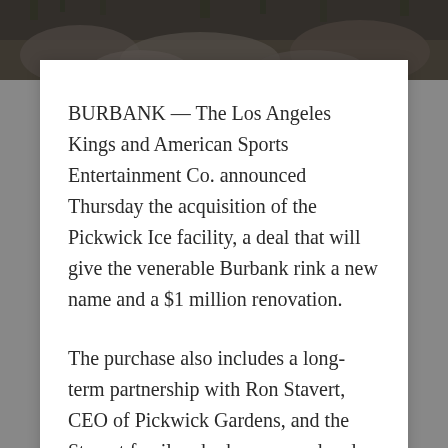[Figure (photo): Dark outdoor landscape photo background at top of page, showing rocks and foliage in muted dark tones]
BURBANK — The Los Angeles Kings and American Sports Entertainment Co. announced Thursday the acquisition of the Pickwick Ice facility, a deal that will give the venerable Burbank rink a new name and a $1 million renovation.
The purchase also includes a long-term partnership with Ron Stavert, CEO of Pickwick Gardens, and the Stavert family who have owned and operated the rink since 1961.